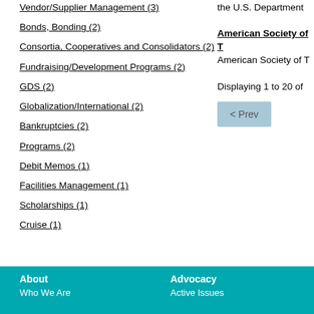Vendor/Supplier Management (3)
Bonds, Bonding (2)
Consortia, Cooperatives and Consolidators (2)
Fundraising/Development Programs (2)
GDS (2)
Globalization/International (2)
Bankruptcies (2)
Programs (2)
Debit Memos (1)
Facilities Management (1)
Scholarships (1)
Cruise (1)
the U.S. Department
American Society of T
American Society of T
Displaying 1 to 20 of
< Prev
About
Who We Are

Advocacy
Active Issues